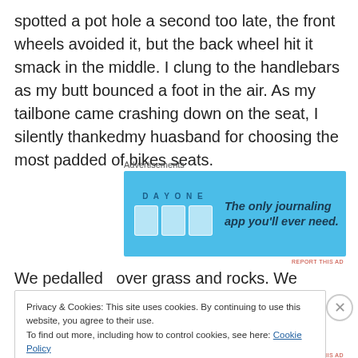spotted a pot hole a second too late, the front wheels avoided it, but the back wheel hit it smack in the middle. I clung to the handlebars as my butt bounced a foot in the air. As my tailbone came crashing down on the seat, I silently thankedmy huasband for choosing the most padded of bikes seats.
[Figure (other): Advertisements banner for DayOne journaling app with blue background, app icons, and text 'The only journaling app you'll ever need.']
We pedalled  over grass and rocks. We enraged a
Privacy & Cookies: This site uses cookies. By continuing to use this website, you agree to their use.
To find out more, including how to control cookies, see here: Cookie Policy
Close and accept